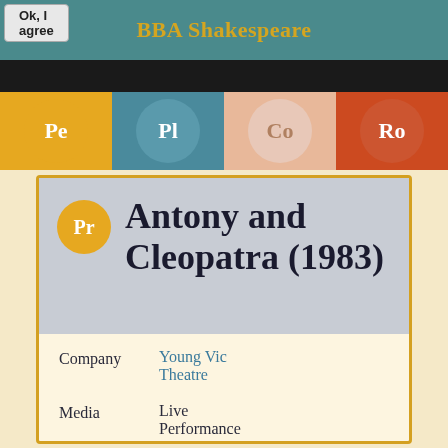BBA Shakespeare
[Figure (infographic): Navigation tabs with colored circles: Pe (amber), Pl (teal), Co (peach), Ro (red-orange) on dark gray bar]
Antony and Cleopatra (1983)
Company Young Vic Theatre
Media Live Performance
Category Theatre
PRINCIPAL CAST: Keith Baxter (Antony), Brian Deacon